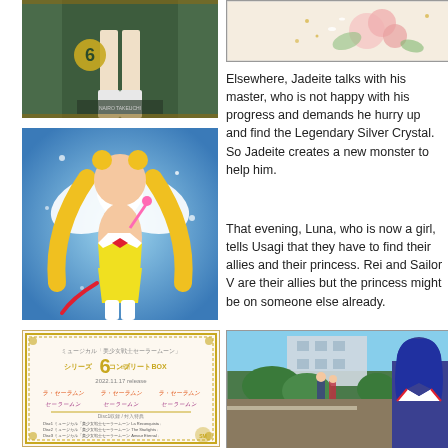[Figure (photo): Top-left image: Nairo Takeuchi figure/poster with number 6, showing legs and green background]
[Figure (photo): Middle-left image: Sailor Moon figure with wings on blue background]
[Figure (photo): Bottom-left image: Japanese text promotional box art - Series 6 Complete BOX, 2022.11.17 release]
[Figure (photo): Top-right image: Floral watercolor illustration with roses and decorative elements]
Elsewhere, Jadeite talks with his master, who is not happy with his progress and demands he hurry up and find the Legendary Silver Crystal. So Jadeite creates a new monster to help him.
That evening, Luna, who is now a girl, tells Usagi that they have to find their allies and their princess. Rei and Sailor V are their allies but the princess might be on someone else already.
[Figure (screenshot): Bottom-right image: Anime screenshot showing characters outside a building with trees - Sailor Moon Crystal scene]